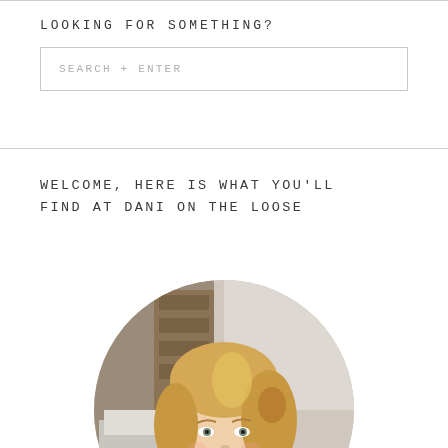LOOKING FOR SOMETHING?
SEARCH + ENTER
WELCOME, HERE IS WHAT YOU'LL FIND AT DANI ON THE LOOSE
[Figure (photo): Circular portrait photo of a smiling blonde woman in a home interior setting with a couch and bookshelf background]